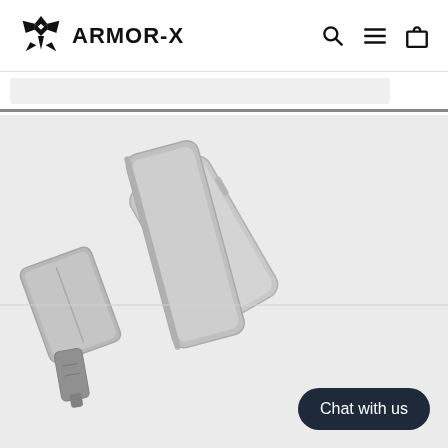ARMOR-X
[Figure (photo): Product photo showing ARMOR-X device accessories including a large phone case/sled, a medium mount plate, and a small connector/key piece, all in gray tones on a light gray background]
Chat with us